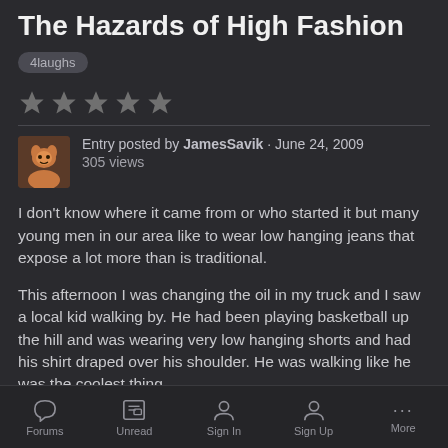The Hazards of High Fashion
4laughs
★★★★★
Entry posted by JamesSavik · June 24, 2009
305 views
I don't know where it came from or who started it but many young men in our area like to wear low hanging jeans that expose a lot more than is traditional.
This afternoon I was changing the oil in my truck and I saw a local kid walking by. He had been playing basketball up the hill and was wearing very low hanging shorts and had his shirt draped over his shoulder. He was walking like he was the coolest thing
Forums  Unread  Sign In  Sign Up  More